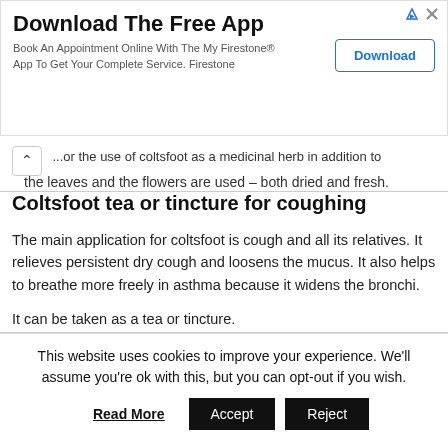[Figure (other): Advertisement banner for Firestone app download with title 'Download The Free App', body text, and a Download button]
...for the use of coltsfoot as a medicinal herb in addition to the leaves and the flowers are used – both dried and fresh.
Coltsfoot tea or tincture for coughing
The main application for coltsfoot is cough and all its relatives. It relieves persistent dry cough and loosens the mucus. It also helps to breathe more freely in asthma because it widens the bronchi.
It can be taken as a tea or tincture.
This website uses cookies to improve your experience. We'll assume you're ok with this, but you can opt-out if you wish.